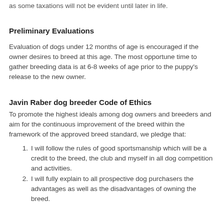as some taxations will not be evident until later in life.
Preliminary Evaluations
Evaluation of dogs under 12 months of age is encouraged if the owner desires to breed at this age. The most opportune time to gather breeding data is at 6-8 weeks of age prior to the puppy's release to the new owner.
Javin Raber dog breeder Code of Ethics
To promote the highest ideals among dog owners and breeders and aim for the continuous improvement of the breed within the framework of the approved breed standard, we pledge that:
I will follow the rules of good sportsmanship which will be a credit to the breed, the club and myself in all dog competition and activities.
I will fully explain to all prospective dog purchasers the advantages as well as the disadvantages of owning the breed.